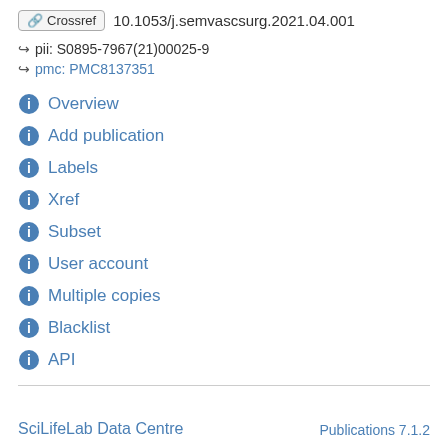Crossref 10.1053/j.semvascsurg.2021.04.001
pii: S0895-7967(21)00025-9
pmc: PMC8137351
Overview
Add publication
Labels
Xref
Subset
User account
Multiple copies
Blacklist
API
SciLifeLab Data Centre  Publications 7.1.2